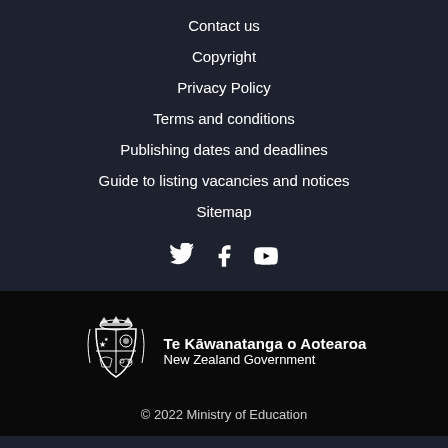Contact us
Copyright
Privacy Policy
Terms and conditions
Publishing dates and deadlines
Guide to listing vacancies and notices
Sitemap
[Figure (illustration): Social media icons: Twitter, Facebook, YouTube]
[Figure (logo): New Zealand Government crest logo with text: Te Kawanatanga o Aotearoa / New Zealand Government]
© 2022 Ministry of Education